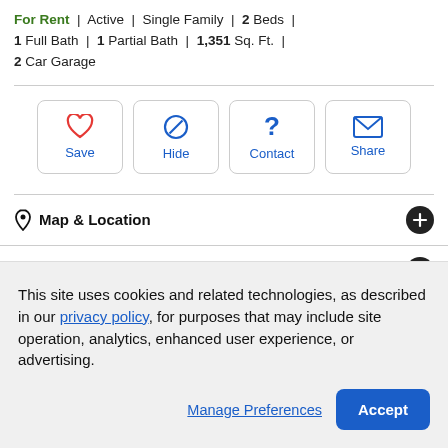For Rent | Active | Single Family | 2 Beds | 1 Full Bath | 1 Partial Bath | 1,351 Sq. Ft. | 2 Car Garage
[Figure (other): Four action buttons: Save (heart icon), Hide (no-entry icon), Contact (question mark icon), Share (envelope icon)]
Map & Location
Property Description
This site uses cookies and related technologies, as described in our privacy policy, for purposes that may include site operation, analytics, enhanced user experience, or advertising.
Manage Preferences   Accept